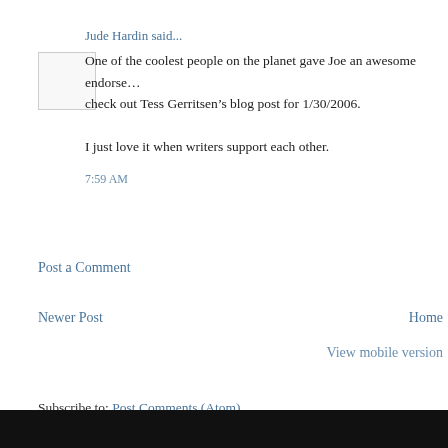Jude Hardin said...
One of the coolest people on the planet gave Joe an awesome endorse... check out Tess Gerritsen's blog post for 1/30/2006.
I just love it when writers support each other.
7:59 AM
Post a Comment
Newer Post
Home
View mobile version
Subscribe to: Post Comments (Atom)